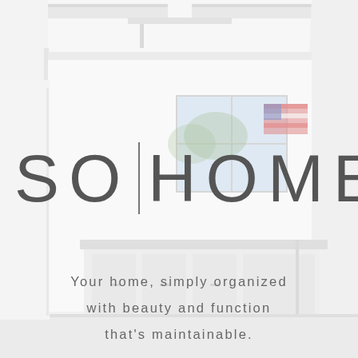[Figure (photo): Bright white minimalist garage/home organization space with white cabinets, countertop, window showing American flag outside, fluorescent ceiling lights, and clean white walls and floor.]
SO|HOME
Your home, simply organized
with beauty and function
that's maintainable.